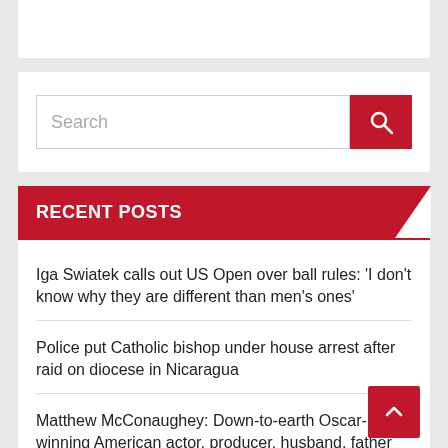[Figure (screenshot): Top white card with red button partially visible at top]
Search
RECENT POSTS
Iga Swiatek calls out US Open over ball rules: ‘I don’t know why they are different than men’s ones’
Police put Catholic bishop under house arrest after raid on diocese in Nicaragua
Matthew McConaughey: Down-to-earth Oscar-winning American actor, producer, husband, father
Looking for ‘ever loving homes’: Nearly 4,000